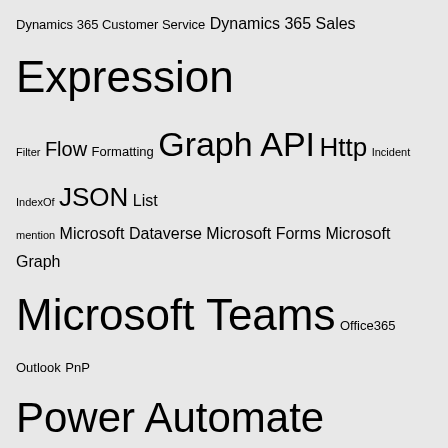[Figure (other): Tag cloud with technology-related terms in varying font sizes indicating frequency/popularity. Terms include: Dynamics 365 Customer Service, Dynamics 365 Sales, Expression, Filter, Flow, Formatting, Graph API, Http, Incident, IndexOf, JSON, List, mention, Microsoft Dataverse, Microsoft Forms, Microsoft Graph, Microsoft Teams, Office365, Outlook, PnP, Power Automate, PowerShell, Power Virtual Agents, Records, REST, REST API, Select, SharePoint, SharePoint 2010, SharePoint 2013, SharePoint Online, SPFx, Table, Trigger, Trigger Condition, Troubleshooting, Work Item, Yammer]
MORE
POWER AUTOMATE
Damien Bird
Hiro